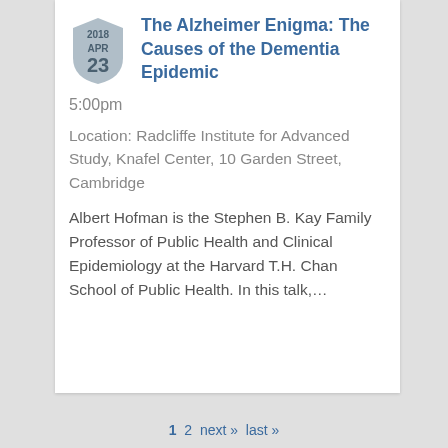[Figure (other): Shield-shaped badge with year 2018, month APR, and day 23]
The Alzheimer Enigma: The Causes of the Dementia Epidemic
5:00pm
Location: Radcliffe Institute for Advanced Study, Knafel Center, 10 Garden Street, Cambridge
Albert Hofman is the Stephen B. Kay Family Professor of Public Health and Clinical Epidemiology at the Harvard T.H. Chan School of Public Health. In this talk,...
1  2  next »  last »